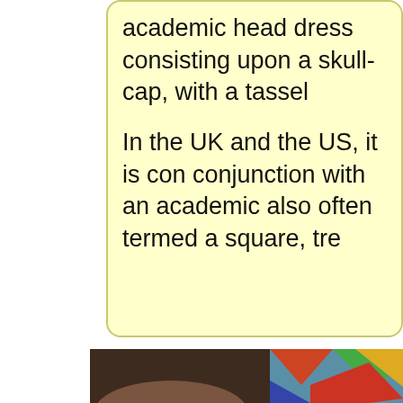academic head dress consisting upon a skull-cap, with a tassel

In the UK and the US, it is commonly worn in conjunction with an academic ... also often termed a square, tre...
[Figure (photo): A photograph showing the back of a person's head wearing an academic mortarboard cap with a tassel, with colorful stained glass geometric patterns visible in the background.]